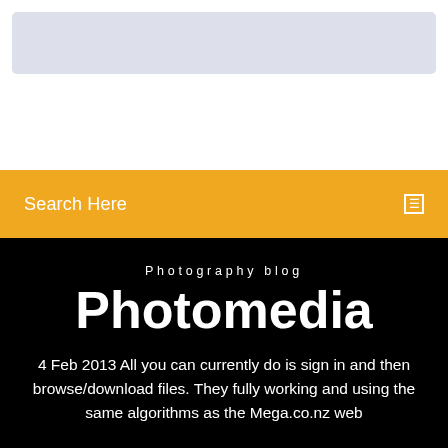[Figure (screenshot): White section at top with a light gray rounded rectangle banner area]
Search Here
Photography blog
Photomedia
4 Feb 2013 All you can currently do is sign in and then browse/download files. They fully working and using the same algorithms as the Mega.co.nz web
[Figure (illustration): Partial view of blue circular avatar icons at the bottom of the black section]